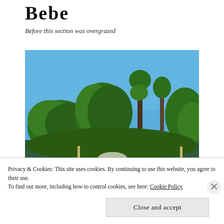Bebe
Before this section was overgrazed
[Figure (photo): Outdoor landscape photo showing tall trees with green foliage against a bright blue sky. Some fence posts visible in the lower portion of the image.]
Privacy & Cookies: This site uses cookies. By continuing to use this website, you agree to their use.
To find out more, including how to control cookies, see here: Cookie Policy
Close and accept